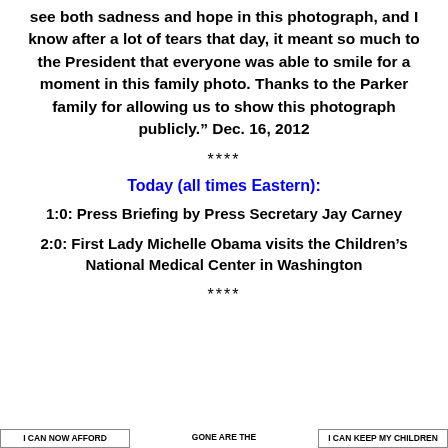see both sadness and hope in this photograph, and I know after a lot of tears that day, it meant so much to the President that everyone was able to smile for a moment in this family photo. Thanks to the Parker family for allowing us to show this photograph publicly.” Dec. 16, 2012
****
Today (all times Eastern):
1:0: Press Briefing by Press Secretary Jay Carney
2:0: First Lady Michelle Obama visits the Children’s National Medical Center in Washington
****
I CAN NOW AFFORD
GONE ARE THE
I CAN KEEP MY CHILDREN